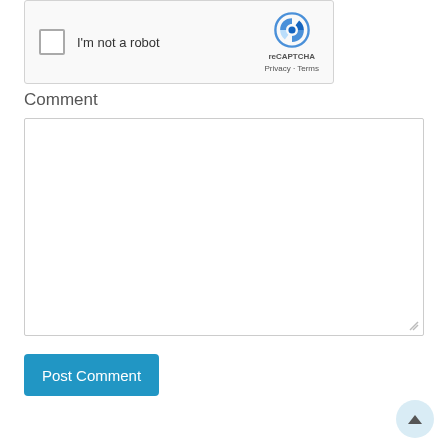[Figure (screenshot): reCAPTCHA widget showing checkbox 'I'm not a robot' with reCAPTCHA logo, Privacy and Terms links]
Comment
[Figure (screenshot): Empty comment text area input field]
Post Comment
[Figure (other): Scroll to top button with upward arrow]